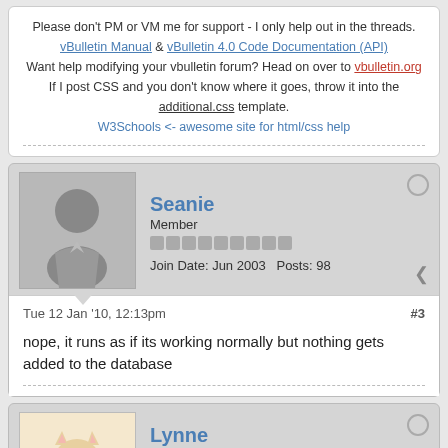Please don't PM or VM me for support - I only help out in the threads.
vBulletin Manual & vBulletin 4.0 Code Documentation (API)
Want help modifying your vbulletin forum? Head on over to vbulletin.org
If I post CSS and you don't know where it goes, throw it into the additional.css template.
W3Schools &lt;- awesome site for html/css help
Seanie
Member
Join Date: Jun 2003  Posts: 98
Tue 12 Jan '10, 12:13pm
#3
nope, it runs as if its working normally but nothing gets added to the database
Lynne
Former vBulletin Support
Join Date: Oct 2004  Posts: 26257
vBulletin Version: 3.8.x